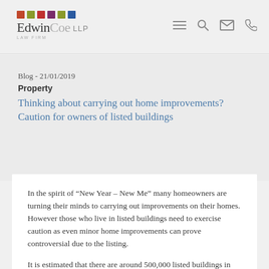Edwin Coe LLP - Law Firm
Blog - 21/01/2019
Property
Thinking about carrying out home improvements? Caution for owners of listed buildings
In the spirit of “New Year – New Me” many homeowners are turning their minds to carrying out improvements on their homes. However those who live in listed buildings need to exercise caution as even minor home improvements can prove controversial due to the listing.
It is estimated that there are around 500,000 listed buildings in England and Wales. About two-thirds of these are residential dwellings. Properties are listed if they are of special architectural and/or historic interest